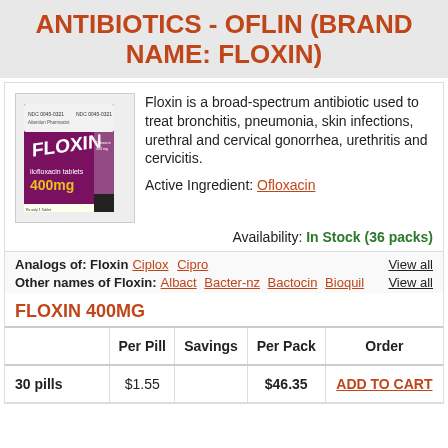ANTIBIOTICS - OFLIN (BRAND NAME: FLOXIN)
[Figure (photo): Floxin ilofloxacin tablets 400mg medication box packaging, purple/maroon colored box]
Floxin is a broad-spectrum antibiotic used to treat bronchitis, pneumonia, skin infections, urethral and cervical gonorrhea, urethritis and cervicitis.
Active Ingredient: Ofloxacin
Availability: In Stock (36 packs)
Analogs of: Floxin   Ciplox  Cipro   View all
Other names of Floxin:   Albact  Bacter-nz  Bactocin  Bioquil   View all
FLOXIN 400MG
|  | Per Pill | Savings | Per Pack | Order |
| --- | --- | --- | --- | --- |
| 30 pills | $1.55 |  | $46.35 | ADD TO CART |